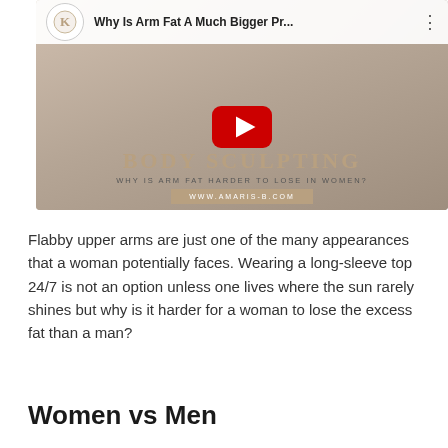[Figure (screenshot): YouTube video thumbnail showing 'Why Is Arm Fat A Much Bigger Pr...' with a play button overlay, body sculpting branding, subtitle 'WHY IS ARM FAT HARDER TO LOSE IN WOMEN?' and URL www.amaris-b.com]
Flabby upper arms are just one of the many appearances that a woman potentially faces. Wearing a long-sleeve top 24/7 is not an option unless one lives where the sun rarely shines but why is it harder for a woman to lose the excess fat than a man?
Women vs Men